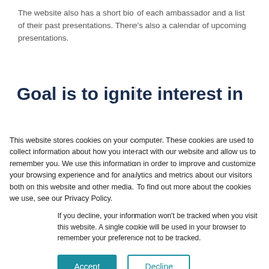The website also has a short bio of each ambassador and a list of their past presentations. There's also a calendar of upcoming presentations.
Goal is to ignite interest in
This website stores cookies on your computer. These cookies are used to collect information about how you interact with our website and allow us to remember you. We use this information in order to improve and customize your browsing experience and for analytics and metrics about our visitors both on this website and other media. To find out more about the cookies we use, see our Privacy Policy.
If you decline, your information won't be tracked when you visit this website. A single cookie will be used in your browser to remember your preference not to be tracked.